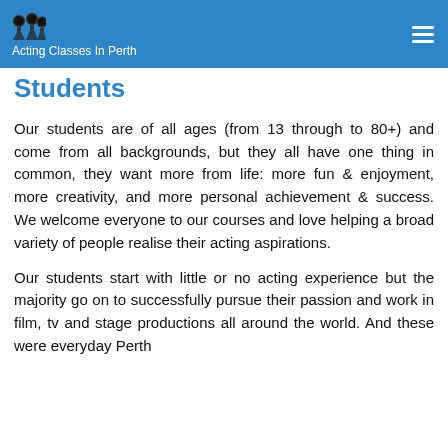Acting Classes In Perth
Students
Our students are of all ages (from 13 through to 80+) and come from all backgrounds, but they all have one thing in common, they want more from life: more fun & enjoyment, more creativity, and more personal achievement & success. We welcome everyone to our courses and love helping a broad variety of people realise their acting aspirations.
Our students start with little or no acting experience but the majority go on to successfully pursue their passion and work in film, tv and stage productions all around the world. And these were everyday Perth